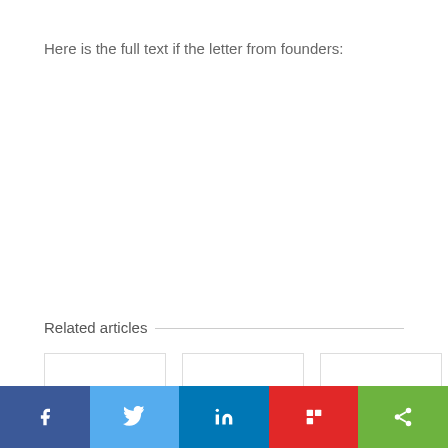Here is the full text if the letter from founders:
Related articles
[Figure (other): Three related article card placeholders (empty white boxes with light borders)]
Social sharing bar: Facebook, Twitter, LinkedIn, Flipboard, Share